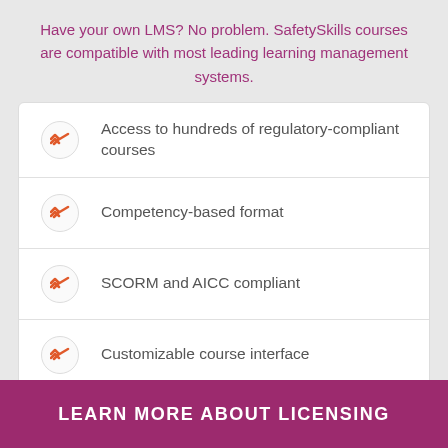Have your own LMS? No problem. SafetySkills courses are compatible with most leading learning management systems.
Access to hundreds of regulatory-compliant courses
Competency-based format
SCORM and AICC compliant
Customizable course interface
LEARN MORE ABOUT LICENSING